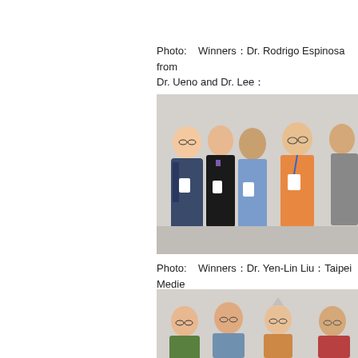Photo:    Winners：Dr. Rodrigo Espinosa from Dr. Ueno and Dr. Lee：
[Figure (photo): Group photo of five men standing together in front of a light gray background, wearing conference name badges]
Photo:    Winners：Dr. Yen-Lin Liu：Taipei Medie
[Figure (photo): Partial group photo showing four men smiling, in front of a light gray background]